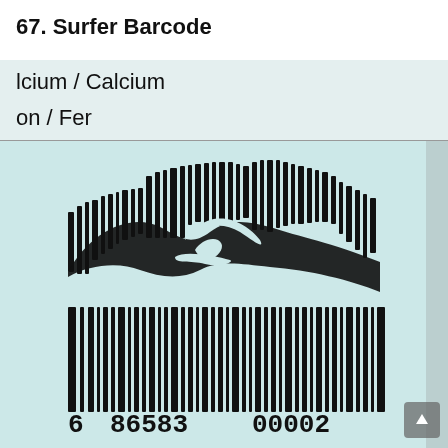67. Surfer Barcode
[Figure (photo): A creative barcode on a product label where the barcode bars are artistically shaped to depict a surfer riding a wave. The bars at the top form the curl of a wave with a surfer silhouette, and the lower bars form the standard barcode structure. The barcode number reads: 6 86583 00002. Above the barcode, label text partially reads 'lcium / Calcium' and 'on / Fer' (portions of Calcium and Iron/Fer nutritional label text).]